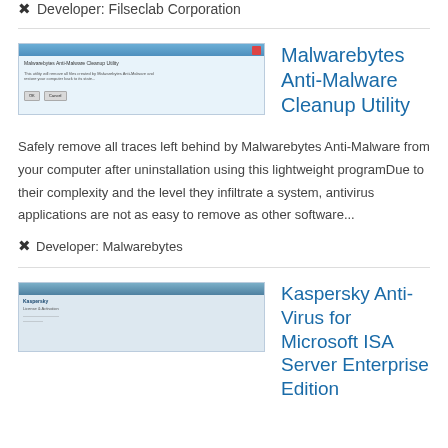🔧 Developer: Filseclab Corporation
[Figure (screenshot): Screenshot of Malwarebytes Anti-Malware Cleanup Utility dialog window]
Malwarebytes Anti-Malware Cleanup Utility
Safely remove all traces left behind by Malwarebytes Anti-Malware from your computer after uninstallation using this lightweight programDue to their complexity and the level they infiltrate a system, antivirus applications are not as easy to remove as other software...
🔧 Developer: Malwarebytes
[Figure (screenshot): Screenshot of Kaspersky Anti-Virus for Microsoft ISA Server Enterprise Edition interface]
Kaspersky Anti-Virus for Microsoft ISA Server Enterprise Edition